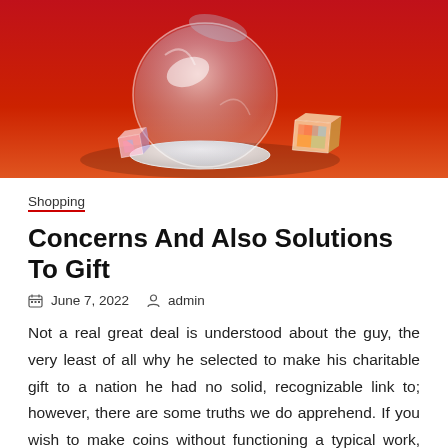[Figure (photo): Product photo: glass sphere and crystal prisms on a red/orange background]
Shopping
Concerns And Also Solutions To Gift
June 7, 2022   admin
Not a real great deal is understood about the guy, the very least of all why he selected to make his charitable gift to a nation he had no solid, recognizable link to; however, there are some truths we do apprehend. If you wish to make coins without functioning a typical work, after that, you require to establish as well as market your special ability collection. This practical set of holders is an